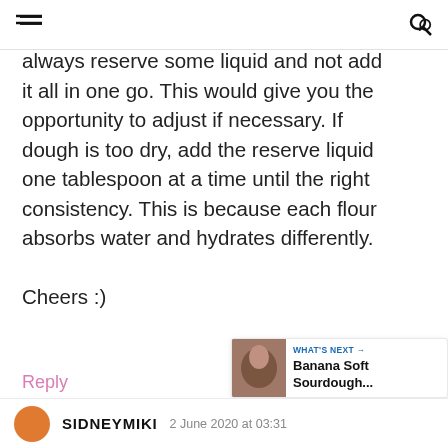≡   🔍
always reserve some liquid and not add it all in one go. This would give you the opportunity to adjust if necessary. If dough is too dry, add the reserve liquid one tablespoon at a time until the right consistency. This is because each flour absorbs water and hydrates differently.

Cheers :)
Reply
WHAT'S NEXT → Banana Soft Sourdough...
SIDNEYMIKI  2 June 2020 at 03:31